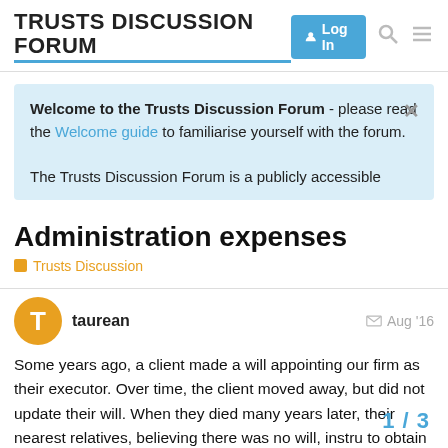TRUSTS DISCUSSION FORUM  Log In
Welcome to the Trusts Discussion Forum - please read the Welcome guide to familiarise yourself with the forum.

The Trusts Discussion Forum is a publicly accessible
Administration expenses
Trusts Discussion
taurean  Aug '16
Some years ago, a client made a will appointing our firm as their executor. Over time, the client moved away, but did not update their will. When they died many years later, their nearest relatives, believing there was no will, instru to obtain a grant on the basis of an intesta
1 / 3